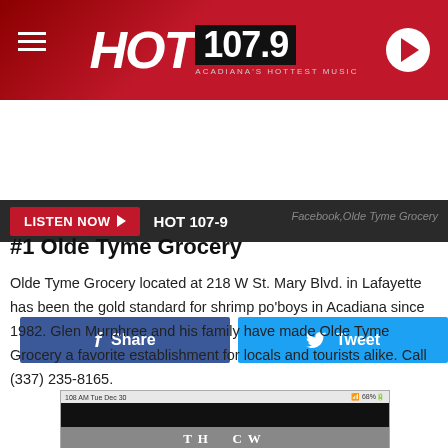HOT 107.9 — ACADIANA'S HOTTEST MUSIC
LISTEN NOW ▶  HOT 107-9
Share  |  Tweet
Facebook,Olde Tyme Grocery
#1 Olde Tyme Grocery
Olde Tyme Grocery located at 218 W St. Mary Blvd. in Lafayette has been the gold standard for shrimp po'boys in Acadiana since 1982. Glen Murphree and his family have made Olde Tyme Grocery a favorite establishment for locals and tourists alike. Call (337) 235-8165.
[Figure (screenshot): A screenshot of a mobile device showing a black-and-white sign photo from Olde Tyme Grocery's Facebook page]